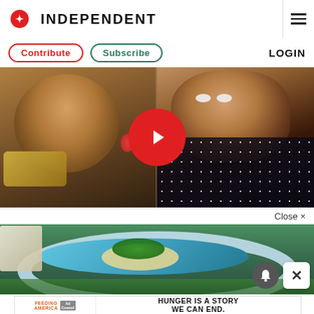[Figure (screenshot): Independent newspaper website header with red eagle logo and INDEPENDENT wordmark, hamburger menu on right]
Contribute
Subscribe
LOGIN
[Figure (photo): Video thumbnail showing two women in a split screen, one eating food on the left and one in a car on the right, with a large red play button in the center]
Close ×
[Figure (photo): Aerial view of a luxury resort island with an oval pool, palm trees, and white building]
[Figure (logo): Feeding America Ad Council logo]
HUNGER IS A STORY WE CAN END.